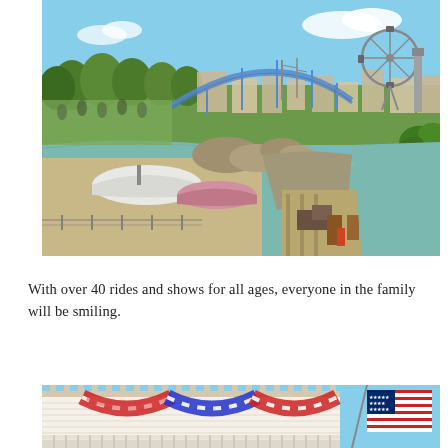[Figure (photo): Aerial view of an amusement/theme park showing a lake or lagoon, roller coaster track, boats on dry land, a Ferris wheel in the background, trees, and various park structures on a sunny day.]
With over 40 rides and shows for all ages, everyone in the family will be smiling.
[Figure (photo): Partial view of a building facade decorated with red, white, and blue bunting/flags, and an American flag, suggesting a patriotic or Fourth of July theme at an amusement park.]